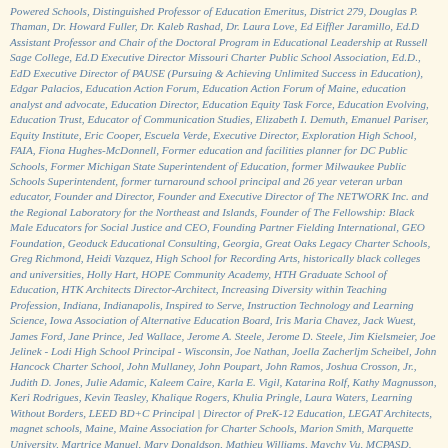Powered Schools, Distinguished Professor of Education Emeritus, District 279, Douglas P. Thaman, Dr. Howard Fuller, Dr. Kaleb Rashad, Dr. Laura Love, Ed Eiffler Jaramillo, Ed.D Assistant Professor and Chair of the Doctoral Program in Educational Leadership at Russell Sage College, Ed.D Executive Director Missouri Charter Public School Association, Ed.D., EdD Executive Director of PAUSE (Pursuing & Achieving Unlimited Success in Education), Edgar Palacios, Education Action Forum, Education Action Forum of Maine, education analyst and advocate, Education Director, Education Equity Task Force, Education Evolving, Education Trust, Educator of Communication Studies, Elizabeth I. Demuth, Emanuel Pariser, Equity Institute, Eric Cooper, Escuela Verde, Executive Director, Exploration High School, FAIA, Fiona Hughes-McDonnell, Former education and facilities planner for DC Public Schools, Former Michigan State Superintendent of Education, former Milwaukee Public Schools Superintendent, former turnaround school principal and 26 year veteran urban educator, Founder and Director, Founder and Executive Director of The NETWORK Inc. and the Regional Laboratory for the Northeast and Islands, Founder of The Fellowship: Black Male Educators for Social Justice and CEO, Founding Partner Fielding International, GEO Foundation, Geoduck Educational Consulting, Georgia, Great Oaks Legacy Charter Schools, Greg Richmond, Heidi Vazquez, High School for Recording Arts, historically black colleges and universities, Holly Hart, HOPE Community Academy, HTH Graduate School of Education, HTK Architects Director-Architect, Increasing Diversity within Teaching Profession, Indiana, Indianapolis, Inspired to Serve, Instruction Technology and Learning Science, Iowa Association of Alternative Education Board, Iris Maria Chavez, Jack Wuest, James Ford, Jane Prince, Jed Wallace, Jerome A. Steele, Jerome D. Steele, Jim Kielsmeier, Joe Jelinek - Lodi High School Principal - Wisconsin, Joe Nathan, Joella Zacherljm Scheibel, John Hancock Charter School, John Mullaney, John Poupart, John Ramos, Joshua Crosson, Jr., Judith D. Jones, Julie Adamic, Kaleem Caire, Karla E. Vigil, Katarina Rolf, Kathy Magnusson, Keri Rodrigues, Kevin Teasley, Khalique Rogers, Khulia Pringle, Laura Waters, Learning Without Borders, LEED BD+C Principal | Director of PreK-12 Education, LEGAT Architects, magnet schools, Maine, Maine Association for Charter Schools, Marion Smith, Marquette University, Martrice Manuel, Mary Donaldson, Mathieu Williams, Maychy Vu, MCPASD, MICAH Memphis, Michael M. Piccirillo, Michigan, Michigan State Superintendent of Education, Middleton, Milwaukee, Minn State system of public colleges & universities, Minneapolis, MN, Monica Cochran, Nancy Dana, Naomi Carrier, Nathan Strenge, National